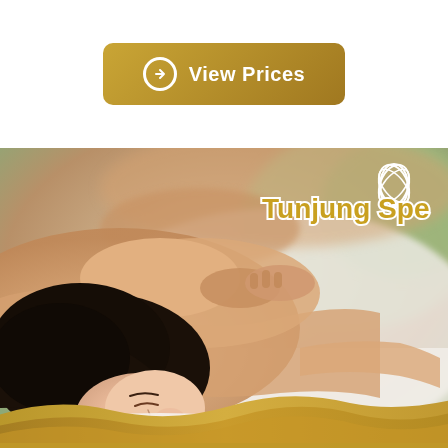[Figure (other): Golden 'View Prices' button with arrow circle icon on white background]
[Figure (photo): Woman lying face down receiving a back/shoulder massage at Tunjung Spa, with gold wave decoration at bottom and Tunjung Spa logo with lotus flower in upper right]